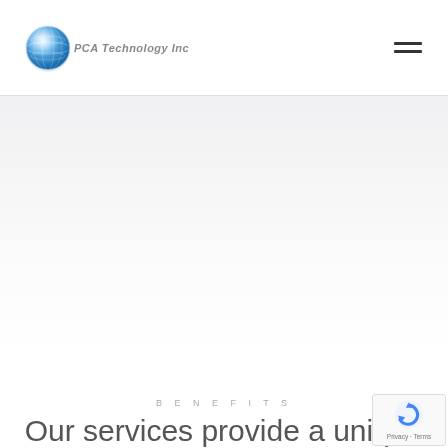[Figure (logo): PCA Technology Inc logo with blue globe icon and italicized text]
[Figure (other): Hamburger/navigation menu icon with two horizontal lines]
[Figure (other): Hero/banner section with light gray gradient background, mostly empty]
BENEFITS
Our services provide a unique
[Figure (other): reCAPTCHA privacy badge with blue circular arrow icon and 'Privacy - Terms' text]